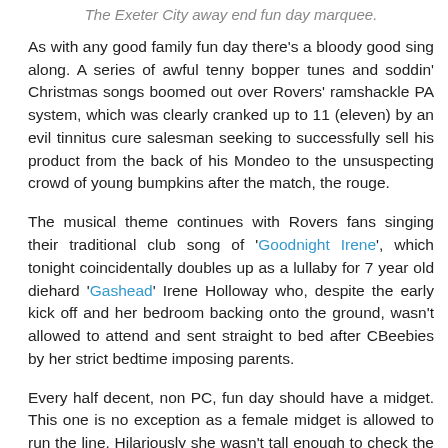The Exeter City away end fun day marquee.
As with any good family fun day there's a bloody good sing along. A series of awful tenny bopper tunes and soddin' Christmas songs boomed out over Rovers' ramshackle PA system, which was clearly cranked up to 11 (eleven) by an evil tinnitus cure salesman seeking to successfully sell his product from the back of his Mondeo to the unsuspecting crowd of young bumpkins after the match, the rouge.
The musical theme continues with Rovers fans singing their traditional club song of 'Goodnight Irene', which tonight coincidentally doubles up as a lullaby for 7 year old diehard 'Gashead' Irene Holloway who, despite the early kick off and her bedroom backing onto the ground, wasn't allowed to attend and sent straight to bed after CBeebies by her strict bedtime imposing parents.
Every half decent, non PC, fun day should have a midget. This one is no exception as a female midget is allowed to run the line. Hilariously she wasn't tall enough to check the top of the goal net and kick off was delayed while a stepladder was brought out. I shit you not.